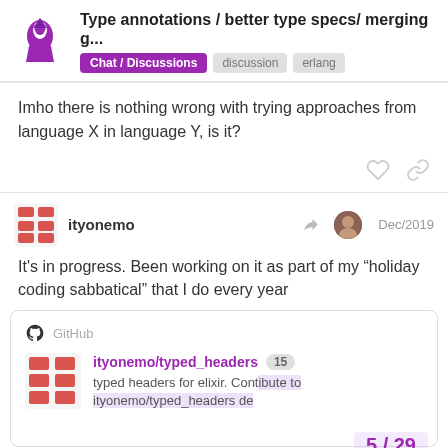Type annotations / better type specs/ merging g... | Chat / Discussions | discussion | erlang
Imho there is nothing wrong with trying approaches from language X in language Y, is it?
ityonemo | Dec/2019
It's in progress. Been working on it as part of my “holiday coding sabbatical” that I do every year
GitHub
ityonemo/typed_headers 15
typed headers for elixir. Contribute to ityonemo/typed_headers de...
creating an account on GitHub.
5 / 29